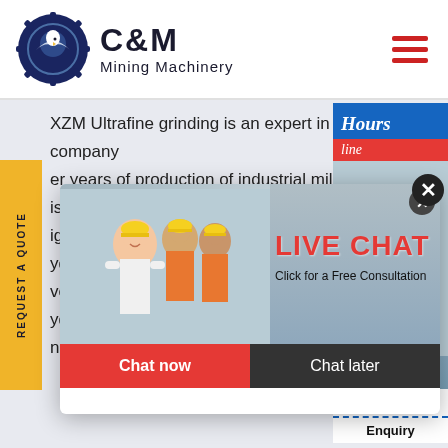[Figure (logo): C&M Mining Machinery logo with gear/eagle emblem in dark blue circle]
XZM Ultrafine grinding is an expert in by my company er years of production of industrial mill, on the is of using design can powder gri ves the d yder with jet mill and ultrafine g nd of efficient
[Figure (screenshot): Live chat popup overlay with workers photo background, LIVE CHAT heading in red, 'Click for a Free Consultation' text, Chat now (red) and Chat later (dark) buttons, with close X buttons]
[Figure (infographic): Right side chat widget showing Hours/Online text in blue/red, customer service representative photo, Click to Chat button, and Enquiry section]